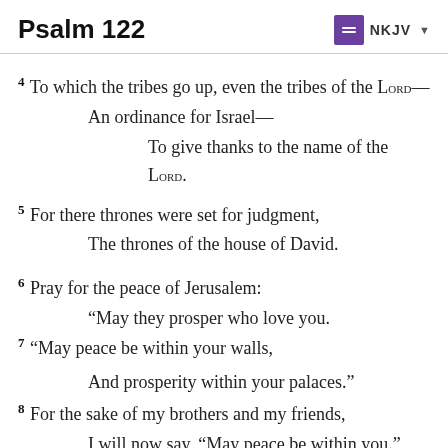Psalm 122   NKJV
4 To which the tribes go up, even the tribes of the LORD—
An ordinance for Israel—
To give thanks to the name of the LORD.
5 For there thrones were set for judgment,
The thrones of the house of David.
6 Pray for the peace of Jerusalem:
“May they prosper who love you.
7 “May peace be within your walls,
And prosperity within your palaces.”
8 For the sake of my brothers and my friends,
I will now say, “May peace be within you.”